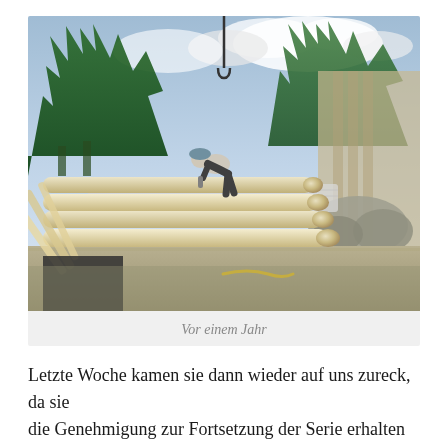[Figure (photo): Construction site photo showing a worker bending over and working on top of stacked logs (log cabin construction), with a crane cable hanging from above, trees in the background, rocks and construction materials visible, overcast sky.]
Vor einem Jahr
Letzte Woche kamen sie dann wieder auf uns zureck, da sie die Genehmigung zur Fortsetzung der Serie erhalten hatten und da dann noch eine Schicht…